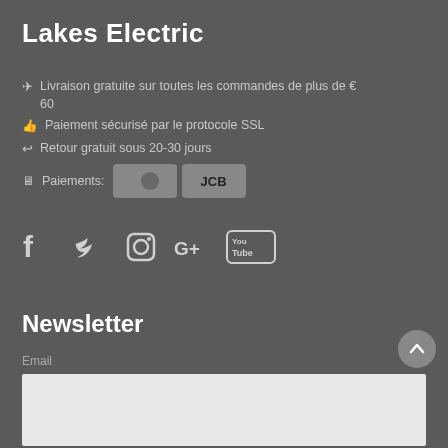Lakes Electric
✈ Livraison gratuite sur toutes les commandes de plus de € 60
👍 Paiement sécurisé par le protocole SSL
↩ Retour gratuit sous 20-30 jours
🖥 Paiements: [Mastercard] [JCB]
[Figure (infographic): Social media icons: Facebook, Twitter, Instagram, Google+, YouTube]
Newsletter
Email
[Figure (other): Email input field and scroll-to-top button]